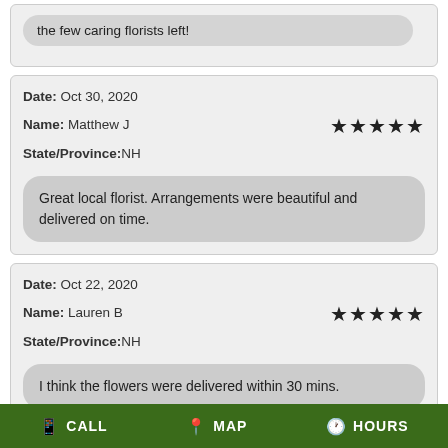the few caring florists left!
Date: Oct 30, 2020
Name: Matthew J
State/Province: NH
★★★★★
Great local florist. Arrangements were beautiful and delivered on time.
Date: Oct 22, 2020
Name: Lauren B
State/Province: NH
★★★★★
I think the flowers were delivered within 30 mins.
CALL  MAP  HOURS